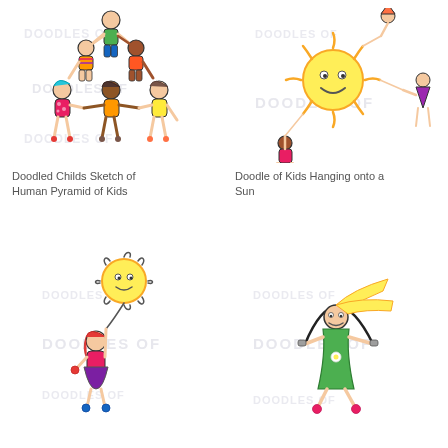[Figure (illustration): Doodled child's sketch of a human pyramid of colorful stick-figure kids holding hands and climbing on each other, with watermark text 'Doodles of' overlaid.]
[Figure (illustration): Doodle of colorful cartoon kids hanging onto the rays of a smiling yellow sun, with watermark text 'Doodles of' overlaid.]
Doodled Childs Sketch of Human Pyramid of Kids
Doodle of Kids Hanging onto a Sun
[Figure (illustration): Doodle of a girl with red hair in a purple skirt holding a yellow smiley sun balloon, with watermark text 'Doodles of' overlaid.]
[Figure (illustration): Doodle of a girl in a green dress jumping rope with yellow hair flying, with a flower on her dress, with watermark text 'Doodles of' overlaid.]